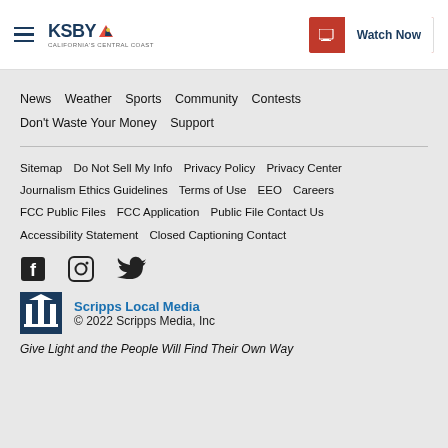KSBY California's Central Coast — Watch Now
News  Weather  Sports  Community  Contests  Don't Waste Your Money  Support
Sitemap  Do Not Sell My Info  Privacy Policy  Privacy Center  Journalism Ethics Guidelines  Terms of Use  EEO  Careers  FCC Public Files  FCC Application  Public File Contact Us  Accessibility Statement  Closed Captioning Contact
[Figure (illustration): Social media icons: Facebook, Instagram, Twitter]
Scripps Local Media
© 2022 Scripps Media, Inc
Give Light and the People Will Find Their Own Way